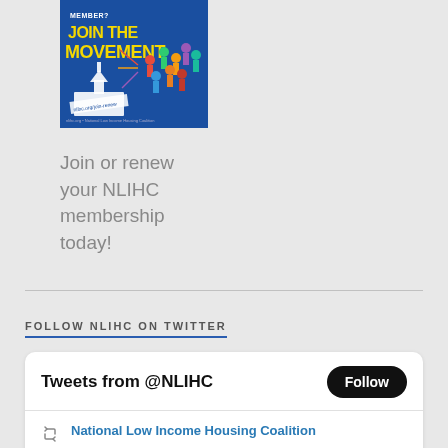[Figure (illustration): NLIHC membership promotional image with 'Join the Movement' text on blue background with colorful people figures and US Capitol building]
Join or renew your NLIHC membership today!
FOLLOW NLIHC ON TWITTER
[Figure (screenshot): Twitter widget showing 'Tweets from @NLIHC' with Follow button and National Low Income Housing Coalition tweet]
National Low Income Housing Coalition